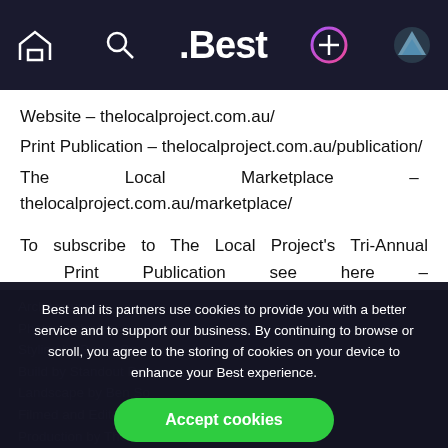.Best — navigation bar with home, search, .Best logo, add (+), and profile icons
Website – thelocalproject.com.au/
Print Publication – thelocalproject.com.au/publication/
The Local Marketplace – thelocalproject.com.au/marketplace/
To subscribe to The Local Project's Tri-Annual Print Publication see here – thelocalproject.com.au/subscribe/
Best and its partners use cookies to provide you with a better service and to support our business. By continuing to browse or scroll, you agree to the storing of cookies on your device to enhance your Best experience.
Accept cookies
Only essentials
Learn more about our privacy policy.